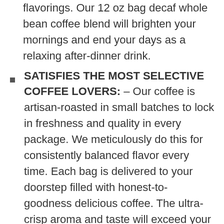flavorings. Our 12 oz bag decaf whole bean coffee blend will brighten your mornings and end your days as a relaxing after-dinner drink.
SATISFIES THE MOST SELECTIVE COFFEE LOVERS: – Our coffee is artisan-roasted in small batches to lock in freshness and quality in every package. We meticulously do this for consistently balanced flavor every time. Each bag is delivered to your doorstep filled with honest-to-goodness delicious coffee. The ultra-crisp aroma and taste will exceed your coffee-loving expectations.
WORKS WITH ALL COFFEE BREWERS: Enjoy your freshly brewed coffee from home. Brew with your preference: drip, pour over, press pot or cold.
ENJOY COFFEE WHILE STAYING HEALTHY: We source only the finest Arabica coffee beans from around the world. Containing zero calories, our